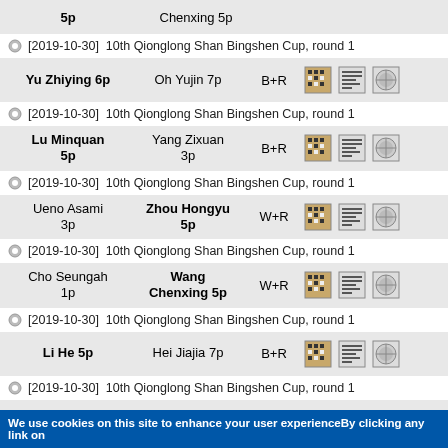| Player 1 | Player 2 | Result | Icons |
| --- | --- | --- | --- |
| 5p | Chenxing 5p |  |  |
| [2019-10-30] 10th Qionglong Shan Bingshen Cup, round 1 |  |  |  |
| Yu Zhiying 6p | Oh Yujin 7p | B+R | icons |
| [2019-10-30] 10th Qionglong Shan Bingshen Cup, round 1 |  |  |  |
| Lu Minquan 5p | Yang Zixuan 3p | B+R | icons |
| [2019-10-30] 10th Qionglong Shan Bingshen Cup, round 1 |  |  |  |
| Ueno Asami 3p | Zhou Hongyu 5p | W+R | icons |
| [2019-10-30] 10th Qionglong Shan Bingshen Cup, round 1 |  |  |  |
| Cho Seungah 1p | Wang Chenxing 5p | W+R | icons |
| [2019-10-30] 10th Qionglong Shan Bingshen Cup, round 1 |  |  |  |
| Li He 5p | Hei Jiajia 7p | B+R | icons |
| [2019-10-30] 10th Qionglong Shan Bingshen Cup, round 1 |  |  |  |
| Yin Mingming | Fujiao... |  |  |
We use cookies on this site to enhance your user experienceBy clicking any link on